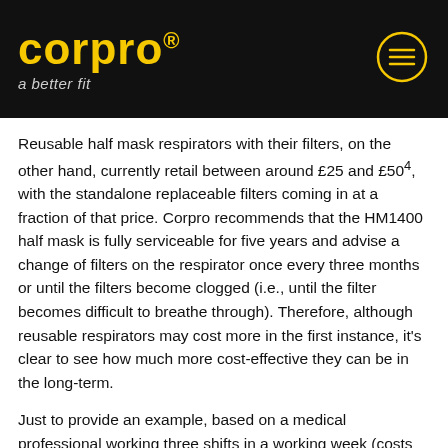[Figure (logo): Corpro logo with yellow text on black background and tagline 'a better fit', with a yellow circle menu icon on the right]
Reusable half mask respirators with their filters, on the other hand, currently retail between around £25 and £50⁴, with the standalone replaceable filters coming in at a fraction of that price. Corpro recommends that the HM1400 half mask is fully serviceable for five years and advise a change of filters on the respirator once every three months or until the filters become clogged (i.e., until the filter becomes difficult to breathe through). Therefore, although reusable respirators may cost more in the first instance, it's clear to see how much more cost-effective they can be in the long-term.
Just to provide an example, based on a medical professional working three shifts in a working week (costs ex VAT):
If you use a FFP3 facepiece –